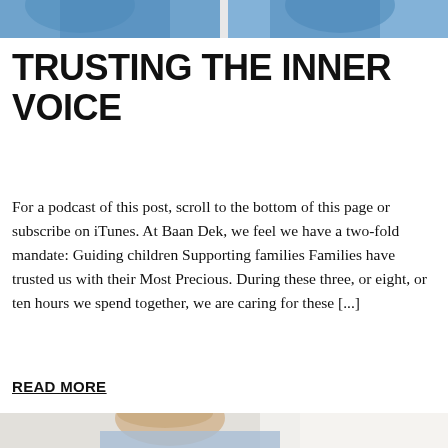[Figure (photo): Top portion of a photo showing children, partially cropped, blue clothing visible]
TRUSTING THE INNER VOICE
For a podcast of this post, scroll to the bottom of this page or subscribe on iTunes. At Baan Dek, we feel we have a two-fold mandate: Guiding children Supporting families Families have trusted us with their Most Precious. During these three, or eight, or ten hours we spend together, we are caring for these [...]
READ MORE
[Figure (photo): Bottom portion of a photo showing a young child with blonde hair in a blue shirt, reaching toward something off-screen]